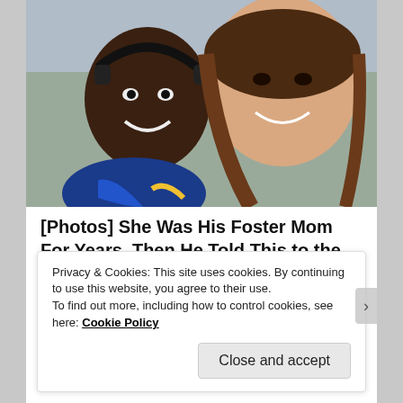[Figure (photo): Selfie photo of a young Black boy wearing headphones and a blue and gold sports jersey, smiling with a young white woman with long brown hair, both smiling at the camera.]
[Photos] She Was His Foster Mom For Years, Then He Told This to the Judg...
12Up
Privacy & Cookies: This site uses cookies. By continuing to use this website, you agree to their use.
To find out more, including how to control cookies, see here: Cookie Policy
Close and accept